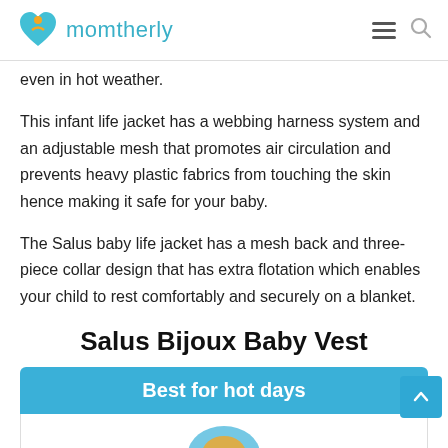momtherly
even in hot weather.
This infant life jacket has a webbing harness system and an adjustable mesh that promotes air circulation and prevents heavy plastic fabrics from touching the skin hence making it safe for your baby.
The Salus baby life jacket has a mesh back and three-piece collar design that has extra flotation which enables your child to rest comfortably and securely on a blanket.
Salus Bijoux Baby Vest
Best for hot days
[Figure (photo): Product image of Salus Bijoux Baby Vest, partially visible at bottom of page]